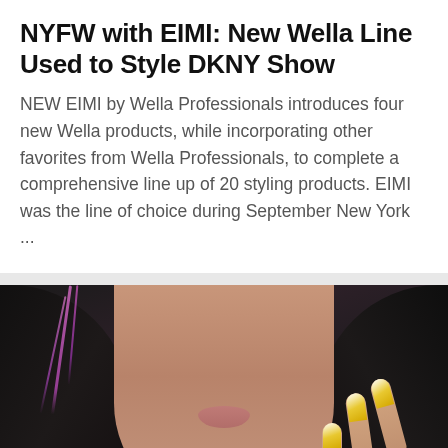NYFW with EIMI: New Wella Line Used to Style DKNY Show
NEW EIMI by Wella Professionals introduces four new Wella products, while incorporating other favorites from Wella Professionals, to complete a comprehensive line up of 20 styling products. EIMI was the line of choice during September New York ...
[Figure (photo): Close-up photo of a model's face with dark hair featuring pink/purple streaks, natural makeup with soft pink lips, and hand near face showing pointed nails painted in yellow/gold and white geometric design.]